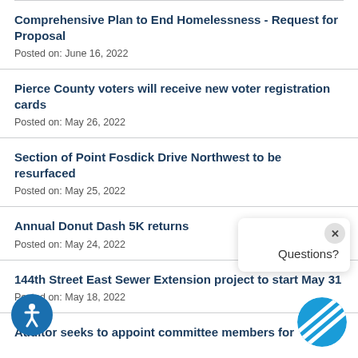Comprehensive Plan to End Homelessness - Request for Proposal
Posted on: June 16, 2022
Pierce County voters will receive new voter registration cards
Posted on: May 26, 2022
Section of Point Fosdick Drive Northwest to be resurfaced
Posted on: May 25, 2022
Annual Donut Dash 5K returns
Posted on: May 24, 2022
144th Street East Sewer Extension project to start May 31
Posted on: May 18, 2022
Auditor seeks to appoint committee members for...